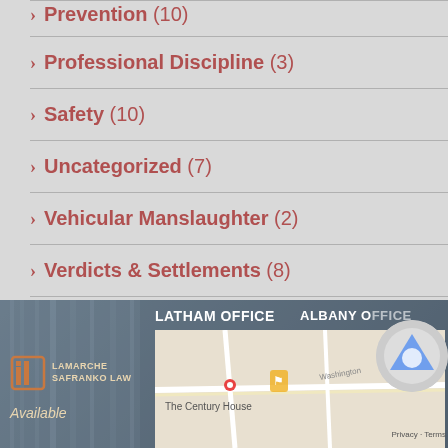Prevention (10)
Professional Discipline (3)
Safety (10)
Uncategorized (7)
Vehicular Manslaughter (2)
Verdicts & Settlements (8)
[Figure (screenshot): Footer section of a law firm website (LaMarche Safranko Law) showing logo, office headings for Latham Office and Albany Office, and a Google Maps embed. A reCAPTCHA badge is also visible.]